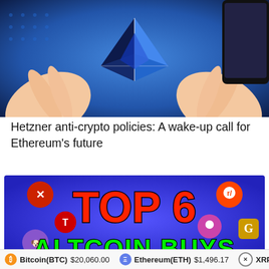[Figure (illustration): Anime-style illustration of hands holding the Ethereum diamond logo against a blue gradient background with dot patterns]
Hetzner anti-crypto policies: A wake-up call for Ethereum’s future
[Figure (illustration): Blue background banner with various crypto coin logos and bold text reading TOP 6 ALTCOIN BUYS]
Bitcoin(BTC) $20,060.00   Ethereum(ETH) $1,496.17   XRP